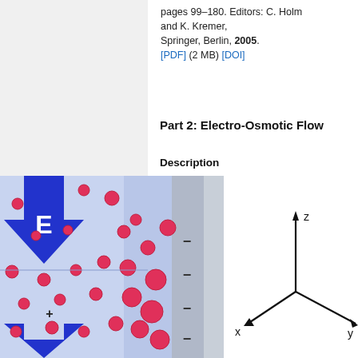pages 99–180. Editors: C. Holm and K. Kremer, Springer, Berlin, 2005. [PDF] (2 MB) [DOI]
Part 2: Electro-Osmotic Flow
Description
[Figure (illustration): Diagram showing electro-osmotic flow with blue arrow labeled E pointing downward, pink/red charged particles scattered in fluid near a charged wall with negative signs, and a coordinate axes diagram showing x, y, z directions.]